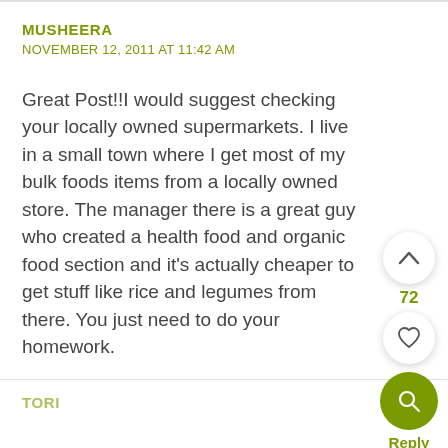MUSHEERA
NOVEMBER 12, 2011 AT 11:42 AM
Great Post!!I would suggest checking your locally owned supermarkets. I live in a small town where I get most of my bulk foods items from a locally owned store. The manager there is a great guy who created a health food and organic food section and it's actually cheaper to get stuff like rice and legumes from there. You just need to do your homework.
Reply
TORI